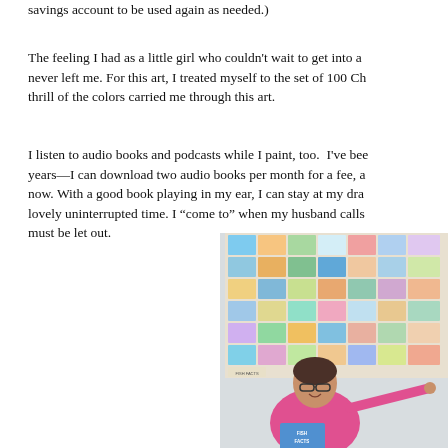savings account to be used again as needed.)
The feeling I had as a little girl who couldn't wait to get into a never left me. For this art, I treated myself to the set of 100 Ch thrill of the colors carried me through this art.
I listen to audio books and podcasts while I paint, too. I've bee years—I can download two audio books per month for a fee, a now. With a good book playing in my ear, I can stay at my dra lovely uninterrupted time. I "come to" when my husband calls must be let out.
[Figure (photo): A woman with glasses and short dark hair, wearing a pink top, smiling and gesturing toward a large bulletin board covered with colorful artwork and fish facts cards. She is holding a blue card that reads 'Fish Facts'.]